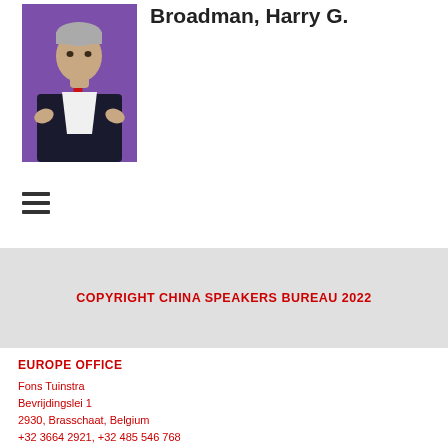[Figure (photo): Photo of Harry G. Broadman, a man in a dark suit with a red tie, photographed against a purple background, gesturing with both hands.]
Broadman, Harry G.
[Figure (other): Hamburger menu icon (three horizontal lines)]
COPYRIGHT CHINA SPEAKERS BUREAU 2022
EUROPE OFFICE
Fons Tuinstra
Bevrijdingslei 1
2930, Brasschaat, Belgium
+32 3664 2921, +32 485 546 768